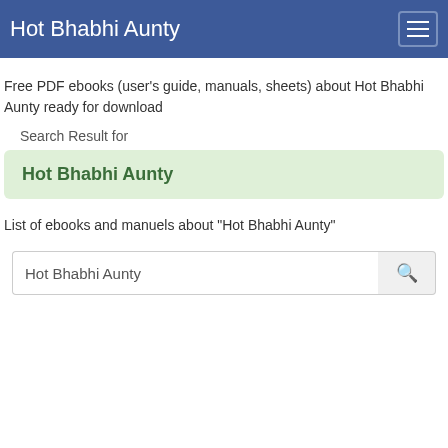Hot Bhabhi Aunty
Free PDF ebooks (user's guide, manuals, sheets) about Hot Bhabhi Aunty ready for download
Search Result for
Hot Bhabhi Aunty
List of ebooks and manuels about "Hot Bhabhi Aunty"
Hot Bhabhi Aunty